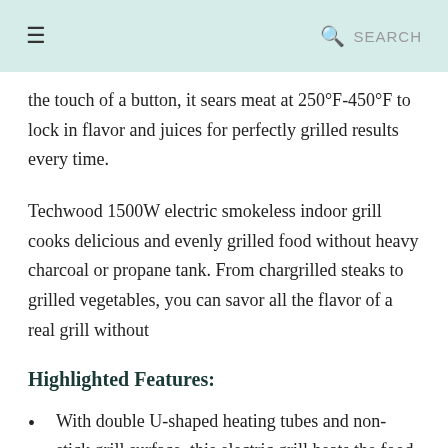☰  🔍 SEARCH
the touch of a button, it sears meat at 250°F-450°F to lock in flavor and juices for perfectly grilled results every time.
Techwood 1500W electric smokeless indoor grill cooks delicious and evenly grilled food without heavy charcoal or propane tank. From chargrilled steaks to grilled vegetables, you can savor all the flavor of a real grill without
Highlighted Features:
With double U-shaped heating tubes and non-stick grill surface, this electric grill heats the food quickly